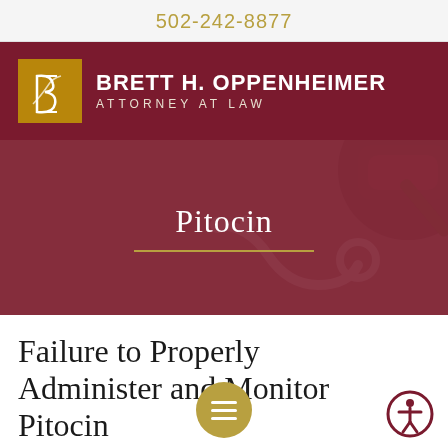502-242-8877
[Figure (logo): Brett H. Oppenheimer Attorney at Law logo with stylized B monogram on gold background and dark red banner]
Pitocin
Failure to Properly Administer and Monitor Pitocin